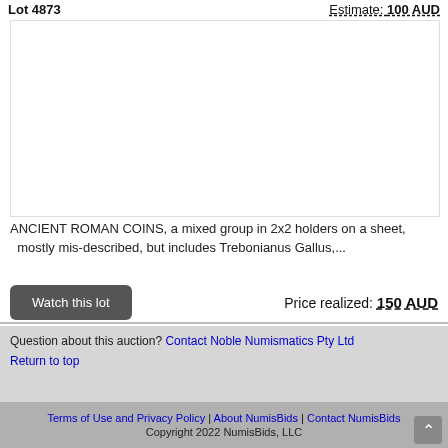Lot 4873    Estimate: 100 AUD
[Figure (photo): Photograph of ancient Roman coins in 2x2 holders on a sheet (image area, largely white/blank in this view)]
ANCIENT ROMAN COINS, a mixed group in 2x2 holders on a sheet, mostly mis-described, but includes Trebonianus Gallus,...
Watch this lot   Price realized: 150 AUD
Question about this auction? Contact Noble Numismatics Pty Ltd
Return to top
Terms of Use and Privacy Policy | About NumisBids | Contact NumisBids  Copyright 2022 NumisBids, LLC